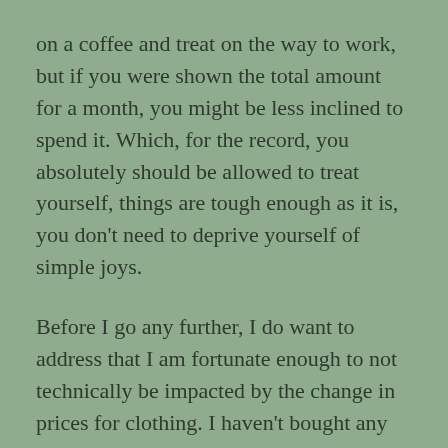on a coffee and treat on the way to work, but if you were shown the total amount for a month, you might be less inclined to spend it. Which, for the record, you absolutely should be allowed to treat yourself, things are tough enough as it is, you don't need to deprive yourself of simple joys.
Before I go any further, I do want to address that I am fortunate enough to not technically be impacted by the change in prices for clothing. I haven't bought any new clothing in a year, and my last time thrifting was in October 2021 – and despite my trickle of